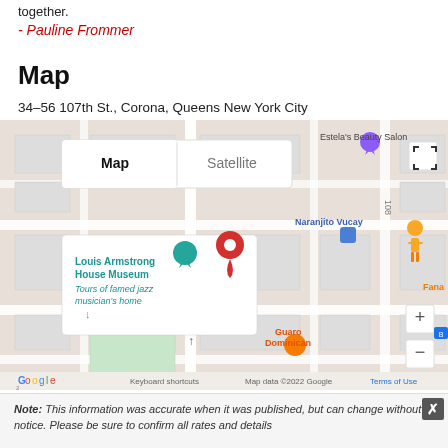together.
- Pauline Frommer
Map
34–56 107th St., Corona, Queens New York City
[Figure (map): Google Map showing 34-56 107th St., Corona, Queens, New York City. The map displays Louis Armstrong House Museum with label 'Tours of famed jazz musician's home', nearby locations including Naranjito Vucay, Guaro Dominican, and Estela's Beauty Salon. A red map pin marks the location. Map controls include Map/Satellite toggle, zoom in/out, fullscreen button. Footer shows: Keyboard shortcuts | Map data ©2022 Google | Terms of Use. Google logo visible at bottom left.]
Note: This information was accurate when it was published, but can change without notice. Please be sure to confirm all rates and details